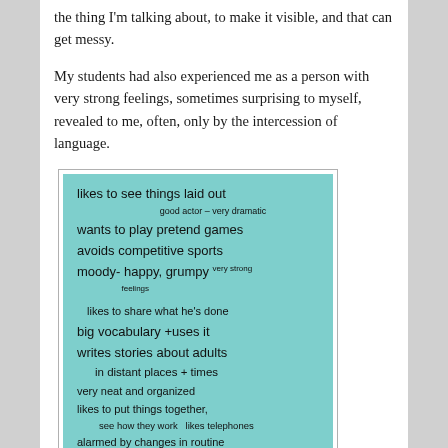the thing I'm talking about, to make it visible, and that can get messy.
My students had also experienced me as a person with very strong feelings, sometimes surprising to myself, revealed to me, often, only by the intercession of language.
[Figure (photo): A handwritten note on teal/turquoise paper listing observations about a student: likes to see things laid out, good actor - very dramatic, wants to play pretend games, avoids competitive sports, moody- happy, grumpy very strong feelings, likes to share what he's done, big vocabulary + uses it, writes stories about adults in distant places + times, very neat and organized, likes to put things together, see how they work, likes telephones, alarmed by changes in routine or expectations - stubborn]